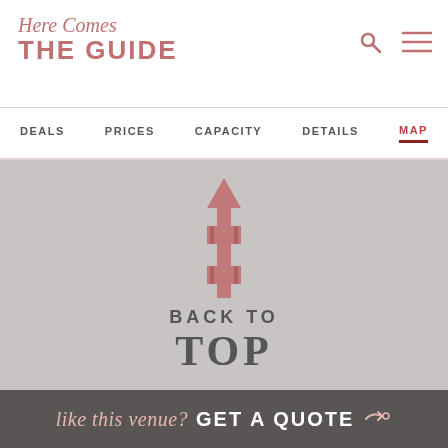[Figure (logo): Here Comes THE GUIDE logo in rose/salmon color, script and bold sans-serif]
DEALS  PRICES  CAPACITY  DETAILS  MAP
[Figure (illustration): Upward pointing arrow icon in salmon/rose color, decorative double-arrow with banner style]
BACK TO TOP
Wedding Locations
Wedding Ideas
Real Weddings
like this venue? GET A QUOTE